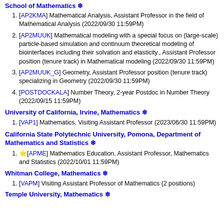School of Mathematics ❄
[AP2KMA] Mathematical Analysis, Assistant Professor in the field of Mathematical Analysis (2022/09/30 11:59PM)
[AP2MUUK] Mathematical modeling with a special focus on (large-scale) particle-based simulation and continuum theoretical modeling of biointerfaces including their solvation and elasticity., Assistant Professor position (tenure track) in Mathematical modeling (2022/09/30 11:59PM)
[AP2MUUK_G] Geometry, Assistant Professor position (tenure track) specializing in Geometry (2022/09/30 11:59PM)
[POSTDOCKALA] Number Theory, 2-year Postdoc in Number Theory (2022/09/15 11:59PM)
University of California, Irvine, Mathematics ❄
[VAP1] Mathematics, Visiting Assistant Professor (2023/06/30 11:59PM)
California State Polytechnic University, Pomona, Department of Mathematics and Statistics ❄
⭐[APME] Mathematics Education, Assistant Professor, Mathematics and Statistics (2022/10/01 11:59PM)
Whitman College, Mathematics ❄
[VAPM] Visiting Assistant Professor of Mathematics (2 positions)
Temple University, Mathematics Center for Mathematics...